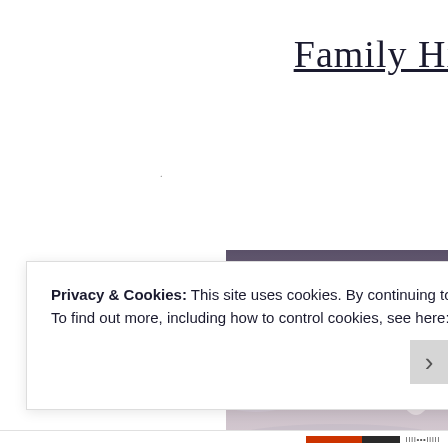Family Hi
[Figure (photo): Atmospheric photo with caption 'George' of Operation Gre... showing a figure in white amid dramatic cloudy sky]
Privacy & Cookies: This site uses cookies. By continuing to use this website, you agree to their use.
To find out more, including how to control cookies, see here: Cookie Policy
Close and accept